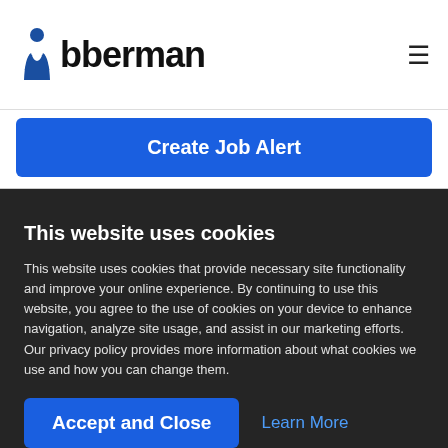Jobberman
Create Job Alert
This website uses cookies
This website uses cookies that provide necessary site functionality and improve your online experience. By continuing to use this website, you agree to the use of cookies on your device to enhance navigation, analyze site usage, and assist in our marketing efforts. Our privacy policy provides more information about what cookies we use and how you can change them.
Accept and Close
Learn More